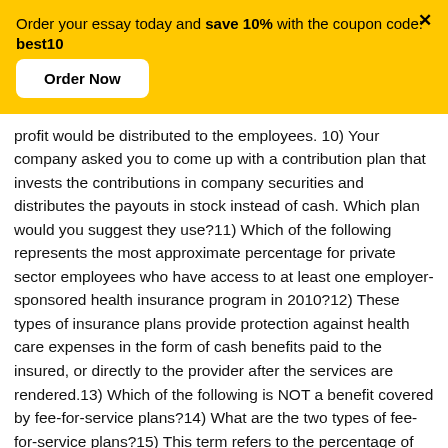Order your essay today and save 10% with the coupon code: best10
Order Now
profit would be distributed to the employees. 10) Your company asked you to come up with a contribution plan that invests the contributions in company securities and distributes the payouts in stock instead of cash. Which plan would you suggest they use?11) Which of the following represents the most approximate percentage for private sector employees who have access to at least one employer-sponsored health insurance program in 2010?12) These types of insurance plans provide protection against health care expenses in the form of cash benefits paid to the insured, or directly to the provider after the services are rendered.13) Which of the following is NOT a benefit covered by fee-for-service plans?14) What are the two types of fee-for-service plans?15) This term refers to the percentage of the health bill the insured employee is [Chat] to pay.16) What is coinsurance?17) This is the condition for which medical advice, diagnosis, care, or treatment